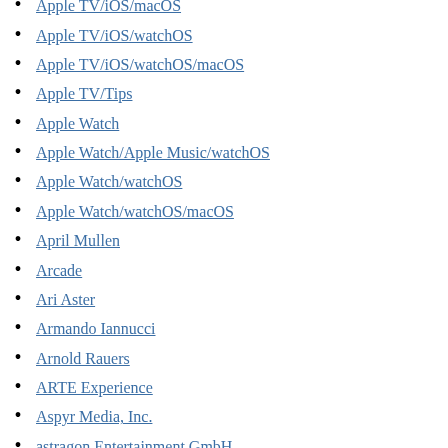Apple TV/iOS/macOS
Apple TV/iOS/watchOS
Apple TV/iOS/watchOS/macOS
Apple TV/Tips
Apple Watch
Apple Watch/Apple Music/watchOS
Apple Watch/watchOS
Apple Watch/watchOS/macOS
April Mullen
Arcade
Ari Aster
Armando Iannucci
Arnold Rauers
ARTE Experience
Aspyr Media, Inc.
astragon Entertainment GmbH
Atypical Games
Austin Stark
Ava DuVernay